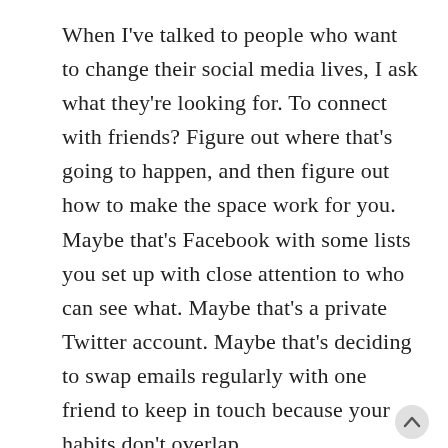When I've talked to people who want to change their social media lives, I ask what they're looking for. To connect with friends? Figure out where that's going to happen, and then figure out how to make the space work for you. Maybe that's Facebook with some lists you set up with close attention to who can see what. Maybe that's a private Twitter account. Maybe that's deciding to swap emails regularly with one friend to keep in touch because your habits don't overlap.
Maybe it's finding topic-focused discussion spaces. Forums are less familiar to many people than they used to be, but they're still there. More people are exploring using social media as a way to point at